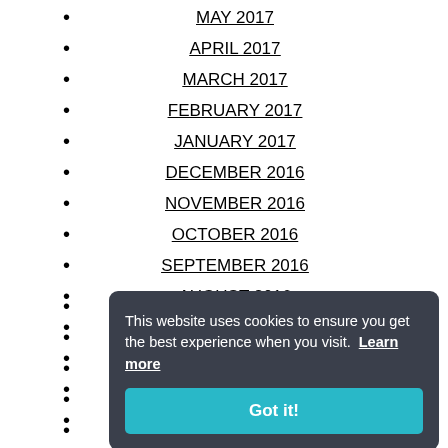MAY 2017
APRIL 2017
MARCH 2017
FEBRUARY 2017
JANUARY 2017
DECEMBER 2016
NOVEMBER 2016
OCTOBER 2016
SEPTEMBER 2016
AUGUST 2016
JULY 2016
JUNE 2016
MAY 2016
APRIL 2016
MARCH 2016
FEBRUARY 2016
JANUARY 2016
DECEMBER 2015
NOVEMBER 2015
OCTOBER 2015
SEPTEMBER 2015
AUGUST 2015
This website uses cookies to ensure you get the best experience when you visit. Learn more
Got it!